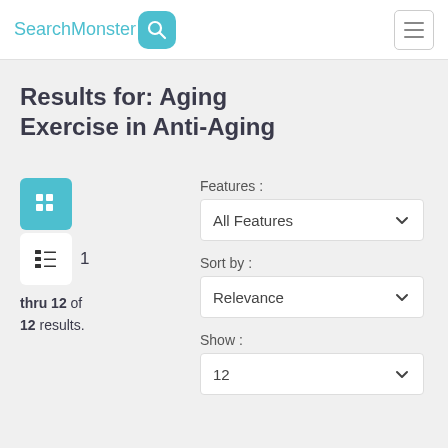SearchMonster [logo]
Results for: Aging Exercise in Anti-Aging
1 thru 12 of 12 results.
Features : All Features
Sort by : Relevance
Show : 12